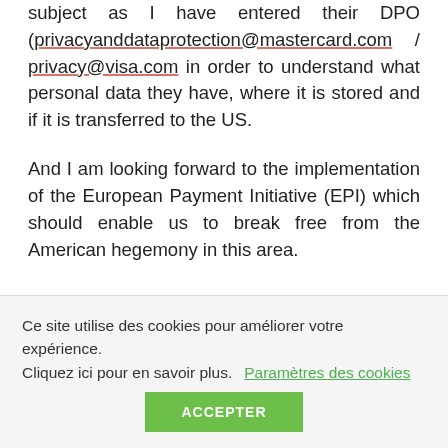subject as I have entered their DPO (privacyanddataprotection@mastercard.com / privacy@visa.com in order to understand what personal data they have, where it is stored and if it is transferred to the US.
And I am looking forward to the implementation of the European Payment Initiative (EPI) which should enable us to break free from the American hegemony in this area.
Ce site utilise des cookies pour améliorer votre expérience. Cliquez ici pour en savoir plus. Paramètres des cookies ACCEPTER